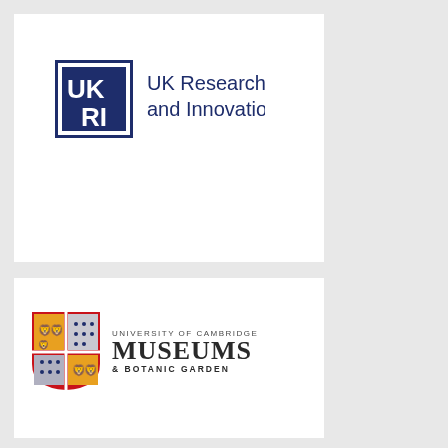[Figure (logo): UK Research and Innovation (UKRI) logo with dark blue square containing UK RI letters and text 'UK Research and Innovation' to the right]
[Figure (logo): University of Cambridge Museums & Botanic Garden logo with heraldic shield and text]